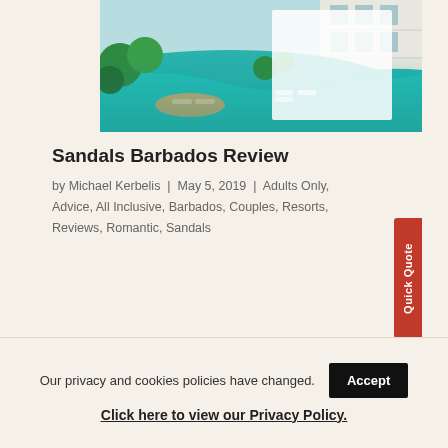[Figure (photo): Aerial/elevated view of a luxury resort with a winding turquoise swimming pool surrounded by lounge chairs, tropical greenery, and white building facades with balconies.]
Sandals Barbados Review
by Michael Kerbelis | May 5, 2019 | Adults Only, Advice, All Inclusive, Barbados, Couples, Resorts, Reviews, Romantic, Sandals
Our privacy and cookies policies have changed. Accept
Click here to view our Privacy Policy.